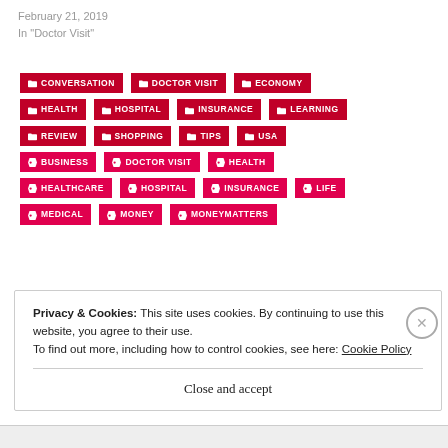February 21, 2019
In "Doctor Visit"
CONVERSATION
DOCTOR VISIT
ECONOMY
HEALTH
HOSPITAL
INSURANCE
LEARNING
REVIEW
SHOPPING
TIPS
USA
BUSINESS
DOCTOR VISIT
HEALTH
HEALTHCARE
HOSPITAL
INSURANCE
LIFE
MEDICAL
MONEY
MONEYMATTERS
Privacy & Cookies: This site uses cookies. By continuing to use this website, you agree to their use.
To find out more, including how to control cookies, see here: Cookie Policy
Close and accept